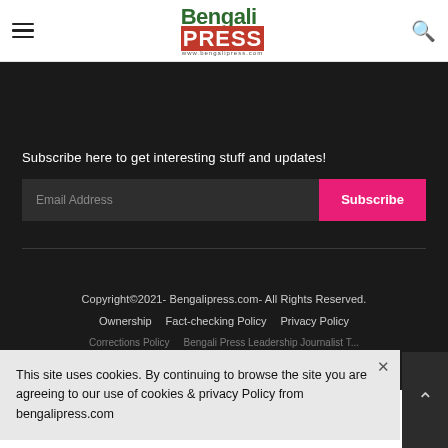Bengali Press
Subscribe here to get interesting stuff and updates!
Email Address
Subscribe
Copyright©2021- Bengalipress.com- All Rights Reserved.
Ownership | Fact-checking Policy | Privacy Policy
Corrections Policy | Bengali Press Leadership Journalist T...
This site uses cookies. By continuing to browse the site you are agreeing to our use of cookies & privacy Policy from bengalipress.com